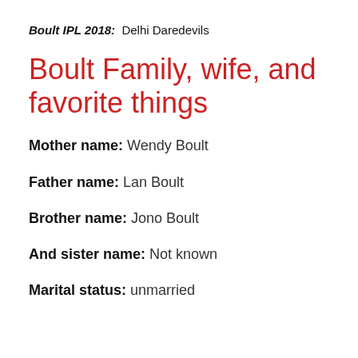Boult IPL 2018: Delhi Daredevils
Boult Family, wife, and favorite things
Mother name: Wendy Boult
Father name: Lan Boult
Brother name: Jono Boult
And sister name: Not known
Marital status: unmarried